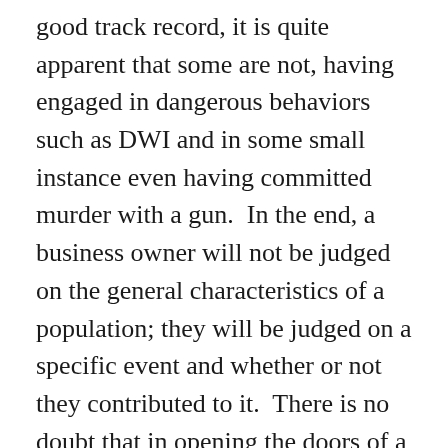good track record, it is quite apparent that some are not, having engaged in dangerous behaviors such as DWI and in some small instance even having committed murder with a gun.  In the end, a business owner will not be judged on the general characteristics of a population; they will be judged on a specific event and whether or not they contributed to it.  There is no doubt that in opening the doors of a business to CCW permit holders, that the owner is also knowingly opening them to the less-than-law-abiding as well thus increasing risk to both employees and patrons.  And the potential workplace scenarios that this legislation creates, such as terminating